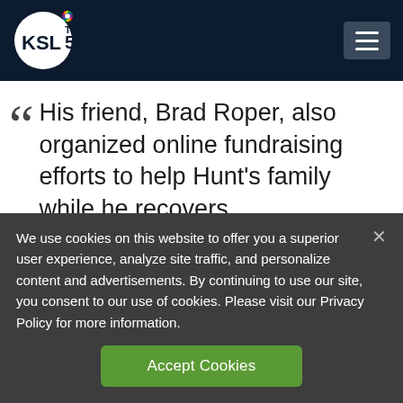[Figure (logo): KSL TV 5 logo with NBC peacock on dark navy header bar]
His friend, Brad Roper, also organized online fundraising efforts to help Hunt's family while he recovers. https://t.co/jHQxDvV61R
Alex Cabrera
We use cookies on this website to offer you a superior user experience, analyze site traffic, and personalize content and advertisements. By continuing to use our site, you consent to our use of cookies. Please visit our Privacy Policy for more information.
Accept Cookies